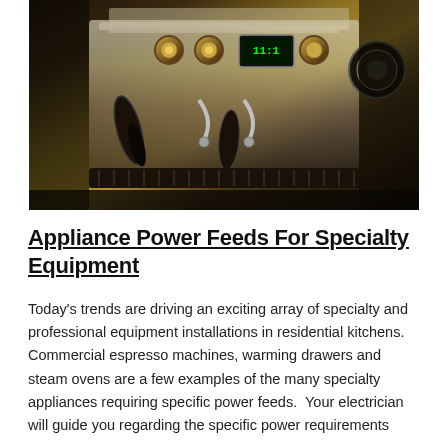[Figure (photo): Close-up photograph of a commercial espresso machine with stainless steel body, portafilter handles, digital display, knobs and steam wands.]
Appliance Power Feeds For Specialty Equipment
Today's trends are driving an exciting array of specialty and professional equipment installations in residential kitchens.  Commercial espresso machines, warming drawers and steam ovens are a few examples of the many specialty appliances requiring specific power feeds.  Your electrician will guide you regarding the specific power requirements